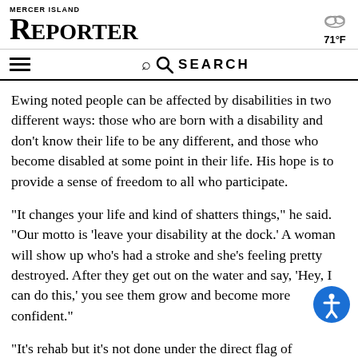MERCER ISLAND REPORTER
71°F
SEARCH
Ewing noted people can be affected by disabilities in two different ways: those who are born with a disability and don't know their life to be any different, and those who become disabled at some point in their life. His hope is to provide a sense of freedom to all who participate.
“It changes your life and kind of shatters things,” he said. “Our motto is ‘leave your disability at the dock.’ A woman will show up who’s had a stroke and she’s feeling pretty destroyed. After they get out on the water and say, ‘Hey, I can do this,’ you see them grow and become more confident.”
“It’s rehab but it’s not done under the direct flag of